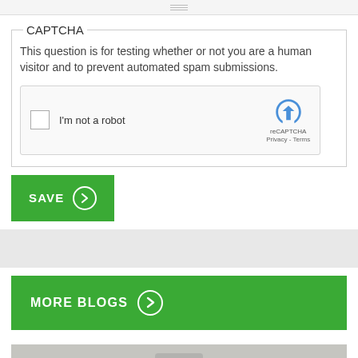[Figure (screenshot): Browser scrollbar / top UI bar]
CAPTCHA
This question is for testing whether or not you are a human visitor and to prevent automated spam submissions.
[Figure (other): reCAPTCHA widget with checkbox labeled I'm not a robot and reCAPTCHA logo with Privacy - Terms links]
[Figure (other): SAVE button with right arrow circle]
[Figure (other): MORE BLOGS button with right arrow circle]
[Figure (photo): Partial photograph at bottom of page]